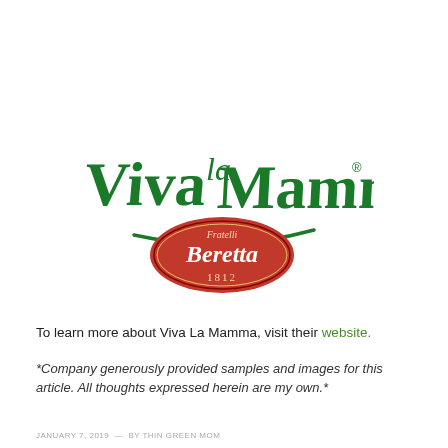[Figure (logo): Viva la Mamma Fratelli Beretta 1812 logo. Green cursive text 'Viva la Mamma' with a red oval badge containing 'Fratelli Beretta 1812' in white text.]
To learn more about Viva La Mamma, visit their website.
*Company generously provided samples and images for this article. All thoughts expressed herein are my own.*
JANUARY 7, 2019 — BY THIN GREEN MOM